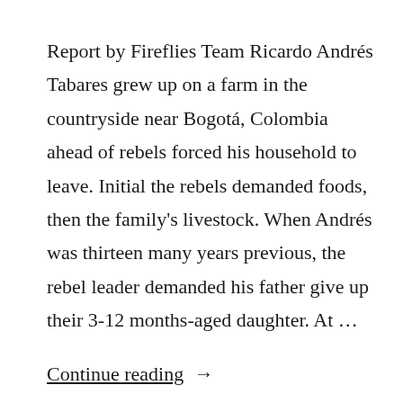Report by Fireflies Team Ricardo Andrés Tabares grew up on a farm in the countryside near Bogotá, Colombia ahead of rebels forced his household to leave. Initial the rebels demanded foods, then the family's livestock. When Andrés was thirteen many years previous, the rebel leader demanded his father give up their 3-12 months-aged daughter. At …
Continue reading →